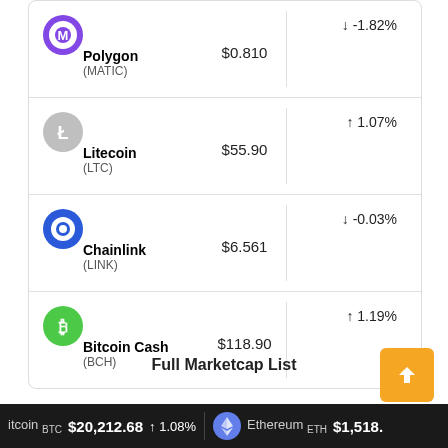| Coin | Price | Change |
| --- | --- | --- |
| Polygon (MATIC) | $0.810 | ↓ -1.82% |
| Litecoin (LTC) | $55.90 | ↑ 1.07% |
| Chainlink (LINK) | $6.561 | ↓ -0.03% |
| Bitcoin Cash (BCH) | $118.90 | ↑ 1.19% |
Full Marketcap List
Bitcoin (BTC) $20,212.68 ↑ 1.08%   Ethereum (ETH) $1,518.